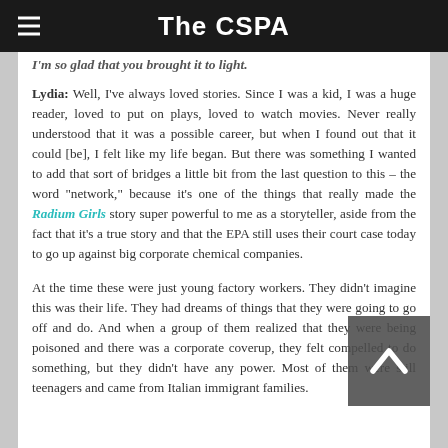The CSPA
I'm so glad that you brought it to light.
Lydia: Well, I've always loved stories. Since I was a kid, I was a huge reader, loved to put on plays, loved to watch movies. Never really understood that it was a possible career, but when I found out that it could [be], I felt like my life began. But there was something I wanted to add that sort of bridges a little bit from the last question to this – the word "network," because it's one of the things that really made the Radium Girls story super powerful to me as a storyteller, aside from the fact that it's a true story and that the EPA still uses their court case today to go up against big corporate chemical companies.
At the time these were just young factory workers. They didn't imagine this was their life. They had dreams of things that they were going to go off and do. And when a group of them realized that they were being poisoned and there was a corporate coverup, they felt compelled to do something, but they didn't have any power. Most of them were still teenagers and came from Italian immigrant families.